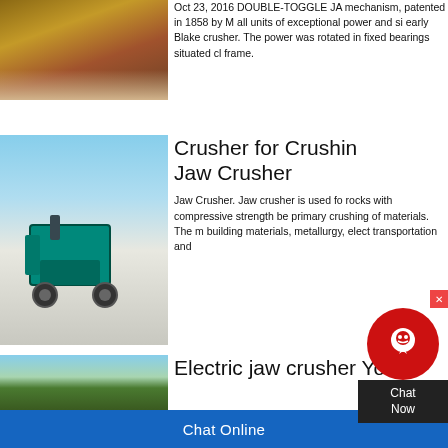[Figure (photo): Mining/crushing machinery in operation, close-up view with dust and gravel]
Oct 23, 2016 DOUBLE-TOGGLE JA mechanism, patented in 1858 by M all units of exceptional power and si early Blake crusher. The power was rotated in fixed bearings situated cl frame.
[Figure (photo): Teal/green colored Jaw Crusher mobile machine outdoors on rocky terrain against blue sky]
Crusher for Crushing Jaw Crusher
Jaw Crusher. Jaw crusher is used fo rocks with compressive strength be primary crushing of materials. The building materials, metallurgy, elec transportation and
[Figure (photo): Jaw crusher machine outdoors with forest treeline in background]
Electric jaw crusher You
Chat Online